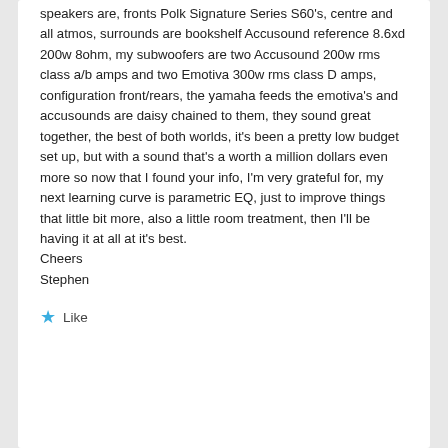speakers are, fronts Polk Signature Series S60's, centre and all atmos, surrounds are bookshelf Accusound reference 8.6xd 200w 8ohm, my subwoofers are two Accusound 200w rms class a/b amps and two Emotiva 300w rms class D amps, configuration front/rears, the yamaha feeds the emotiva's and accusounds are daisy chained to them, they sound great together, the best of both worlds, it's been a pretty low budget set up, but with a sound that's a worth a million dollars even more so now that I found your info, I'm very grateful for, my next learning curve is parametric EQ, just to improve things that little bit more, also a little room treatment, then I'll be having it at all at it's best.
Cheers
Stephen
Like